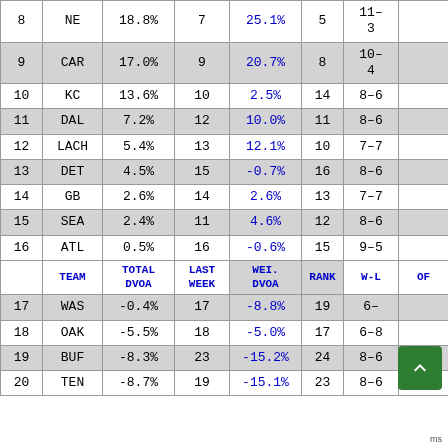|  | TEAM | TOTAL DVOA | LAST WEEK | WEI. DVOA | RANK | W-L | OF |
| --- | --- | --- | --- | --- | --- | --- | --- |
| 8 | NE | 18.8% | 7 | 25.1% | 5 | 11-3 |  |
| 9 | CAR | 17.0% | 9 | 20.7% | 8 | 10-4 |  |
| 10 | KC | 13.6% | 10 | 2.5% | 14 | 8-6 |  |
| 11 | DAL | 7.2% | 12 | 10.0% | 11 | 8-6 |  |
| 12 | LACH | 5.4% | 13 | 12.1% | 10 | 7-7 |  |
| 13 | DET | 4.5% | 15 | -0.7% | 16 | 8-6 |  |
| 14 | GB | 2.6% | 14 | 2.6% | 13 | 7-7 |  |
| 15 | SEA | 2.4% | 11 | 4.6% | 12 | 8-6 |  |
| 16 | ATL | 0.5% | 16 | -0.6% | 15 | 9-5 |  |
| HEADER | TEAM | TOTAL DVOA | LAST WEEK | WEI. DVOA | RANK | W-L | OF |
| 17 | WAS | -0.4% | 17 | -8.8% | 19 | 6- |  |
| 18 | OAK | -5.5% | 18 | -5.0% | 17 | 6-8 |  |
| 19 | BUF | -8.3% | 23 | -15.2% | 24 | 8-6 |  |
| 20 | TEN | -8.7% | 19 | -15.1% | 23 | 8-6 |  |